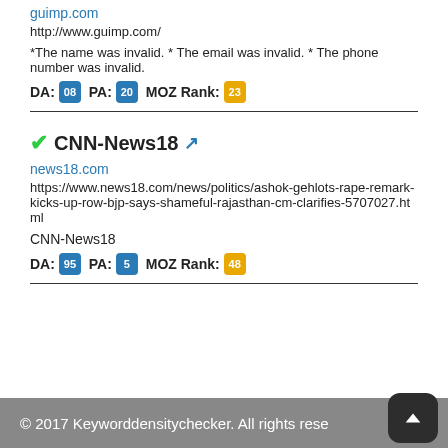guimp.com
http://www.guimp.com/
*The name was invalid. * The email was invalid. * The phone number was invalid.
DA: 08  PA: 20  MOZ Rank: 23
CNN-News18
news18.com
https://www.news18.com/news/politics/ashok-gehlots-rape-remark-kicks-up-row-bjp-says-shameful-rajasthan-cm-clarifies-5707027.html
CNN-News18
DA: 95  PA: 5  MOZ Rank: 48
© 2017 Keyworddensitychecker. All rights rese